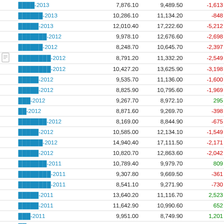| Name | Value1 | Value2 | Diff |
| --- | --- | --- | --- |
| ████-2013 | 7,876.10 | 9,489.50 | -1,613 |
| ██████-2013 | 10,286.10 | 11,134.20 | -848 |
| █████-2013 | 12,010.40 | 17,222.60 | -5,212 |
| ███████-2012 | 9,978.10 | 12,676.60 | -2,698 |
| ██████-2012 | 8,248.70 | 10,645.70 | -2,397 |
| ████████-2012 | 8,791.20 | 11,332.20 | -2,549 |
| ████████-2012 | 10,427.20 | 13,625.90 | -3,198 |
| █████-2012 | 9,535.70 | 11,136.00 | -1,600 |
| █████-2012 | 8,825.90 | 10,795.60 | -1,969 |
| ███-2012 | 9,267.70 | 8,972.10 | 295 |
| ██-2012 | 8,871.60 | 9,269.70 | -398 |
| ███████-2012 | 8,169.00 | 8,844.90 | -675 |
| █████-2012 | 10,585.00 | 12,134.10 | -1,549 |
| ██████-2012 | 14,940.40 | 17,111.50 | -2,171 |
| █████-2012 | 10,820.70 | 12,863.60 | -2,042 |
| ███████-2011 | 10,789.40 | 9,979.70 | 809 |
| ████████-2011 | 9,307.80 | 9,669.50 | -361 |
| ████████-2011 | 8,541.10 | 9,271.90 | -730 |
| █████-2011 | 13,640.20 | 11,116.70 | 2,523 |
| █████-2011 | 11,642.90 | 10,990.60 | 652 |
| ███-2011 | 9,951.00 | 8,749.90 | 1,201 |
| ██-2011 | 12,205.80 | 11,770.80 | 435 |
| ███████-2011 | 9,629.90 | 10,093.50 | -463 |
| █████-2011 | 10,595.20 | 10,848.50 | -253 |